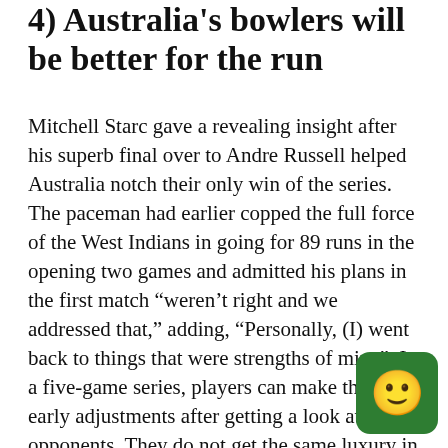4) Australia's bowlers will be better for the run
Mitchell Starc gave a revealing insight after his superb final over to Andre Russell helped Australia notch their only win of the series. The paceman had earlier copped the full force of the West Indians in going for 89 runs in the opening two games and admitted his plans in the first match "weren't right and we addressed that," adding, "Personally, (I) went back to things that were strengths of mine". In a five-game series, players can make those early adjustments after getting a look at their opponents. They do not get the same luxury in a World Cup, where one or two poor group-stage games can spell an early flight home. In the scheme of things from a bowling point of view, the Aussies are likely to be content with how they fared against the Windies, especially with Pat Cummins absent...